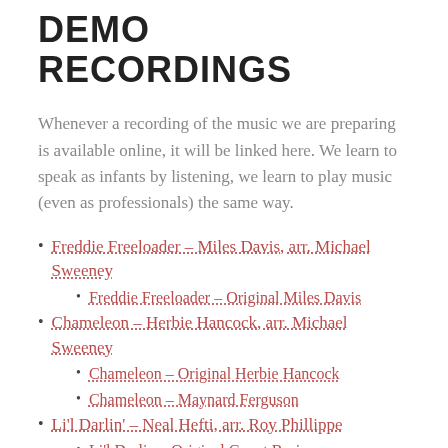DEMO RECORDINGS
Whenever a recording of the music we are preparing is available online, it will be linked here. We learn to speak as infants by listening, we learn to play music (even as professionals) the same way.
Freddie Freeloader – Miles Davis, arr. Michael Sweeney
Freddie Freeloader – Original Miles Davis
Chameleon – Herbie Hancock, arr. Michael Sweeney
Chameleon – Original Herbie Hancock
Chameleon – Maynard Ferguson
Li'l Darlin' – Neal Hefti, arr. Roy Phillippe
Li'l Darlin – Original Count Basie